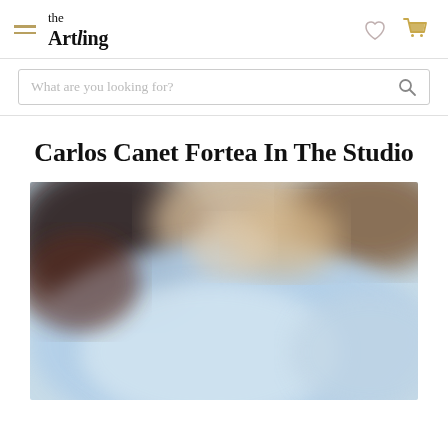the Artling
What are you looking for?
Carlos Canet Fortea In The Studio
[Figure (photo): A blurred/out-of-focus studio photograph showing abstract washes of light blue, beige, dark blue, and brown tones suggesting an artist's studio environment.]